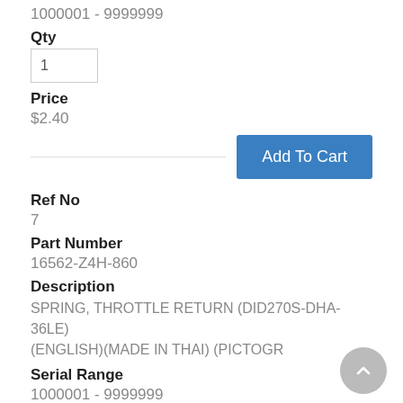1000001 - 9999999
Qty
1
Price
$2.40
Add To Cart
Ref No
7
Part Number
16562-Z4H-860
Description
SPRING, THROTTLE RETURN (DID270S-DHA-36LE) (ENGLISH)(MADE IN THAI) (PICTOGR
Serial Range
1000001 - 9999999
Qty
1
Price
$1.66